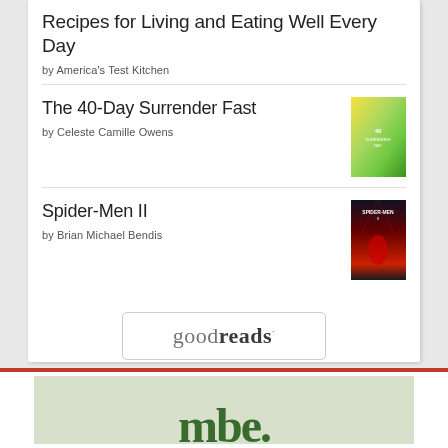Recipes for Living and Eating Well Every Day
by America's Test Kitchen
The 40-Day Surrender Fast
by Celeste Camille Owens
[Figure (illustration): Book cover for The 40-Day Surrender Fast - yellow-green gradient]
Spider-Men II
by Brian Michael Bendis
[Figure (illustration): Book cover for Spider-Men II - dark red comic book cover]
[Figure (logo): Goodreads logo in a rounded rectangle button]
[Figure (illustration): Bottom section with red bar and green 'mbe' text on light green background]